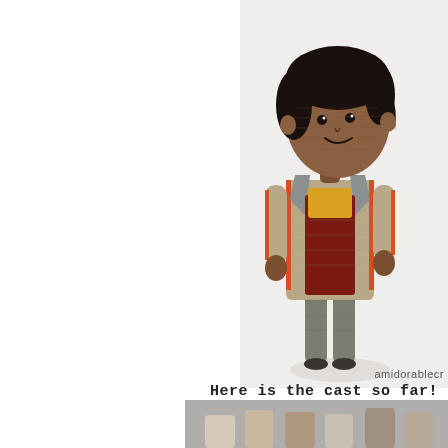[Figure (photo): A crocheted amigurumi doll of a person with dark skin and black hair, wearing a tan/beige jacket with orange trim, yellow shirt, dark red inner shirt, and grey pants. The doll stands against a white background. The photo is positioned in the right half of the image.]
amidorablecr
Here is the cast so far!
[Figure (photo): Bottom portion of a second photo showing multiple crocheted dolls together, partially visible at the bottom of the page.]